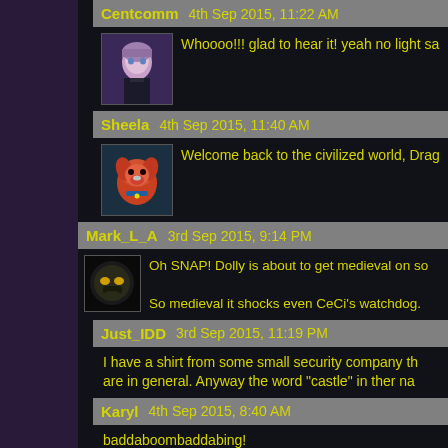Centcomm   4th Sep 2015, 11:22 AM
Whoooo!!! glad to hear it! yeah no light sa
Sheela   4th Sep 2015, 11:40 AM
Welcome back to the civilized world, Drag
Mark_L_A   3rd Sep 2015, 9:14 PM
Oh SNAP! Dolly is about to get medieval on so

So medieval it shocks even CeCi's watchdog.
Just_IDD   3rd Sep 2015, 11:19 PM
I have a shirt from some small security company th are in general. Anyway the word "castle" in ther na
Karyl   4th Sep 2015, 8:40 AM
baddaboombaddabing!